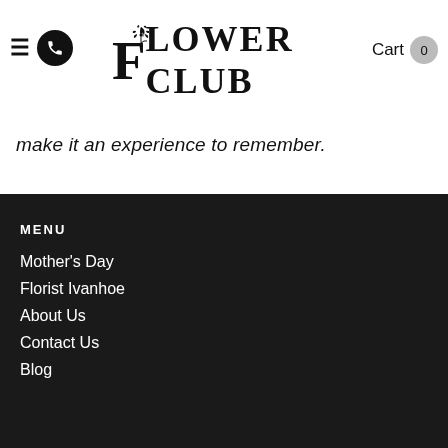FLOWER CLUB — Cart 0
make it an experience to remember.
MENU
Mother's Day
Florist Ivanhoe
About Us
Contact Us
Blog